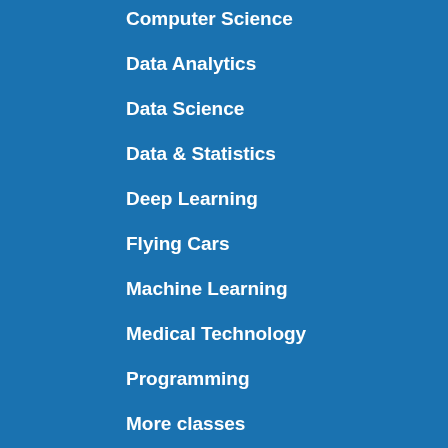Computer Science
Data Analytics
Data Science
Data & Statistics
Deep Learning
Flying Cars
Machine Learning
Medical Technology
Programming
More classes